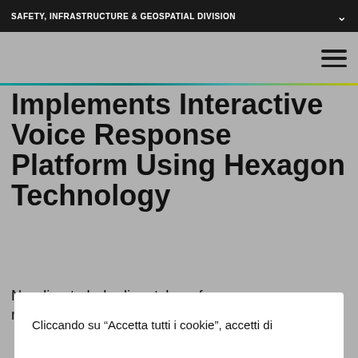SAFETY, INFRASTRUCTURE & GEOSPATIAL DIVISION
Implements Interactive Voice Response Platform Using Hexagon Technology
Needing to help dispatchers focus on power restoration efforts during
Cliccando su “Accetta tutti i cookie”, accetti di